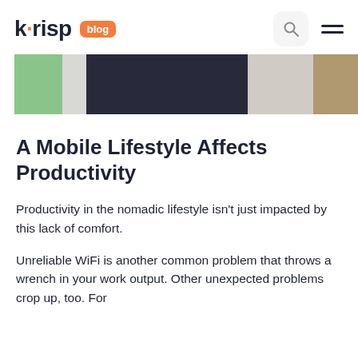krisp blog
[Figure (photo): Cropped photo of a person in a dark shirt, partially visible, with green, light, and brown background segments]
A Mobile Lifestyle Affects Productivity
Productivity in the nomadic lifestyle isn't just impacted by this lack of comfort.
Unreliable WiFi is another common problem that throws a wrench in your work output. Other unexpected problems crop up, too. For